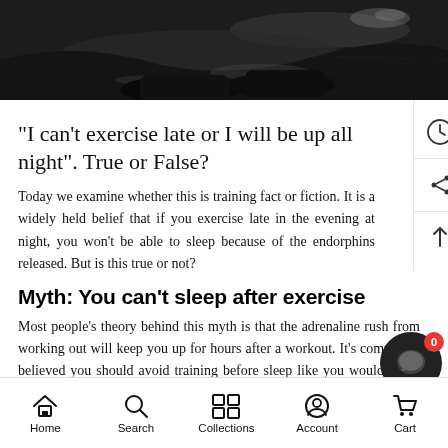[Figure (photo): Dark overhead photo, partial view of a person/athletic shoe on a wet surface at night]
“I can’t exercise late or I will be up all night”. True or False?
Today we examine whether this is training fact or fiction. It is a widely held belief that if you exercise late in the evening at night, you won’t be able to sleep because of the endorphins released. But is this true or not?
Myth: You can’t sleep after exercise
Most people’s theory behind this myth is that the adrenaline rush from working out will keep you up for hours after a workout. It’s commonly believed you should avoid training before sleep like you would avoid caffeine. Throug
Home  Search  Collections  Account  Cart